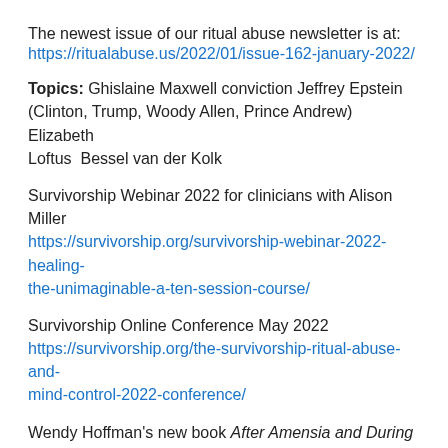The newest issue of our ritual abuse newsletter is at:
https://ritualabuse.us/2022/01/issue-162-january-2022/
Topics: Ghislaine Maxwell conviction Jeffrey Epstein (Clinton, Trump, Woody Allen, Prince Andrew) Elizabeth Loftus  Bessel van der Kolk
Survivorship Webinar 2022 for clinicians with Alison Miller
https://survivorship.org/survivorship-webinar-2022-healing-the-unimaginable-a-ten-session-course/
Survivorship Online Conference May 2022
https://survivorship.org/the-survivorship-ritual-abuse-and-mind-control-2022-conference/
Wendy Hoffman's new book After Amensia and During
https://ritualabuse.us/ritualabuse/books/after-amnesia-and-during-semiannual-by-wendy-hoffman/